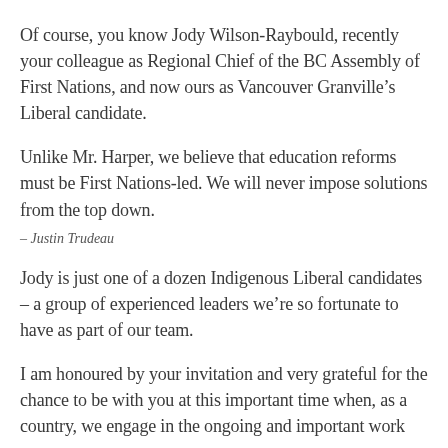Of course, you know Jody Wilson-Raybould, recently your colleague as Regional Chief of the BC Assembly of First Nations, and now ours as Vancouver Granville’s Liberal candidate.
Unlike Mr. Harper, we believe that education reforms must be First Nations-led. We will never impose solutions from the top down.
– Justin Trudeau
Jody is just one of a dozen Indigenous Liberal candidates – a group of experienced leaders we’re so fortunate to have as part of our team.
I am honoured by your invitation and very grateful for the chance to be with you at this important time when, as a country, we engage in the ongoing and important work